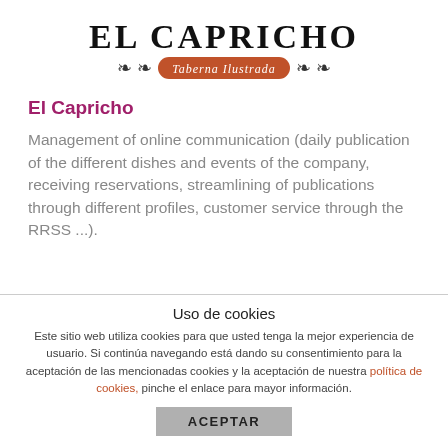[Figure (logo): El Capricho Taberna Ilustrada logo with decorative swirls and orange badge]
El Capricho
Management of online communication (daily publication of the different dishes and events of the company, receiving reservations, streamlining of publications through different profiles, customer service through the RRSS ...).
Uso de cookies
Este sitio web utiliza cookies para que usted tenga la mejor experiencia de usuario. Si continúa navegando está dando su consentimiento para la aceptación de las mencionadas cookies y la aceptación de nuestra política de cookies, pinche el enlace para mayor información.
ACEPTAR